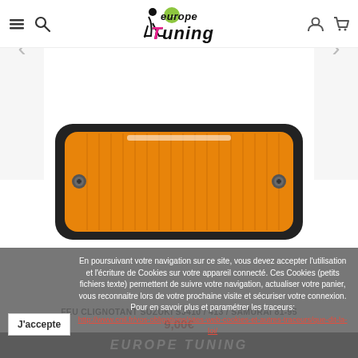Europe Tuning - navigation header with menu, search, account, cart icons and logo
[Figure (photo): Orange/amber indicator light / turn signal (feu clignotant) for Suzuki SJ410/413/Samurai 81-95, rectangular shape with ridged amber lens and black frame, two visible screw mounts]
FEU CLIGNOTANT SUZUKI SJ410 / 413 / SAMURAI 81-95
9,00€
En poursuivant votre navigation sur ce site, vous devez accepter l'utilisation et l'écriture de Cookies sur votre appareil connecté. Ces Cookies (petits fichiers texte) permettent de suivre votre navigation, actualiser votre panier, vous reconnaitre lors de votre prochaine visite et sécuriser votre connexion. Pour en savoir plus et paramétrer les traceurs:
http://www.cnil.fr/vos-obligations/sites-web-cookies-et-autres-traceurs/que-dit-la-loi/
J'accepte
EUROPE TUNING